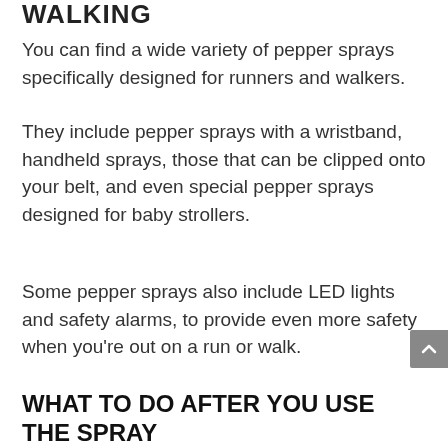WALKING
You can find a wide variety of pepper sprays specifically designed for runners and walkers.
They include pepper sprays with a wristband, handheld sprays, those that can be clipped onto your belt, and even special pepper sprays designed for baby strollers.
Some pepper sprays also include LED lights and safety alarms, to provide even more safety when you're out on a run or walk.
WHAT TO DO AFTER YOU USE THE SPRAY